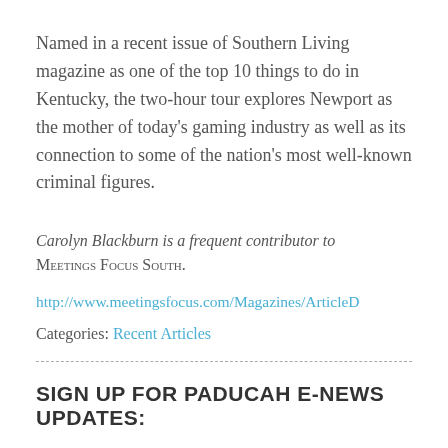Named in a recent issue of Southern Living magazine as one of the top 10 things to do in Kentucky, the two-hour tour explores Newport as the mother of today's gaming industry as well as its connection to some of the nation's most well-known criminal figures.
Carolyn Blackburn is a frequent contributor to Meetings Focus South.
http://www.meetingsfocus.com/Magazines/ArticleD
Categories: Recent Articles
SIGN UP FOR PADUCAH E-NEWS UPDATES: